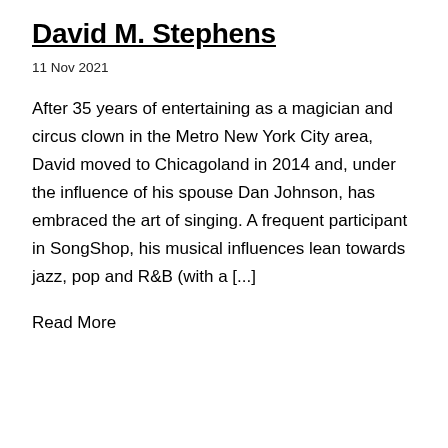David M. Stephens
11 Nov 2021
After 35 years of entertaining as a magician and circus clown in the Metro New York City area, David moved to Chicagoland in 2014 and, under the influence of his spouse Dan Johnson, has embraced the art of singing. A frequent participant in SongShop, his musical influences lean towards jazz, pop and R&B (with a [...]
Read More